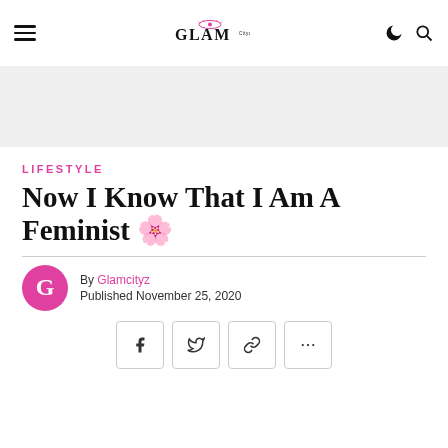GLAM Cityz — navigation header
[Figure (other): Gray banner/advertisement area below the navigation bar]
LIFESTYLE
Now I Know That I Am A Feminist 🌸
By Glamcityz
Published November 25, 2020
[Figure (other): Social share buttons: Facebook, Twitter, Link, More (…)]